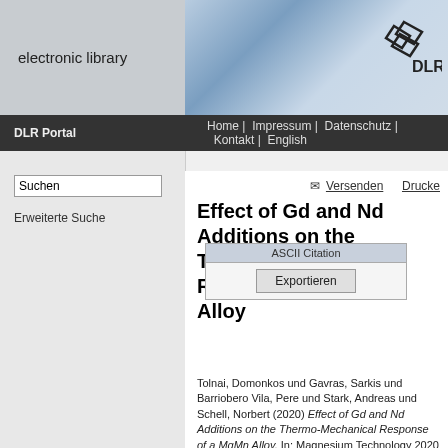electronic library
[Figure (logo): DLR diamond logo with text DLR]
DLR Portal | Home | Impressum | Datenschutz | Kontakt | English
Suchen
Erweiterte Suche
Versenden  Drucke
Effect of Gd and Nd Additions on the Thermo-Mechanical Response of a MgMn Alloy
ASCII Citation  Exportieren
Tolnai, Domonkos und Gavras, Sarkis und Barriobero Vila, Pere und Stark, Andreas und Schell, Norbert (2020) Effect of Gd and Nd Additions on the Thermo-Mechanical Response of a MgMn Alloy. In: Magnesium Technology 2020 Springer. Seiten 37-42. doi: 10.1007/978-3-030-36647-6_8. ISBN 978-3-030-36647-6. ISSN 978-3-030-36646-9.
PDF - Nur DLR-intern zugänglich 643kB
Offizielle URL: https://doi.org/10.1007/978-3-030-36647-6_8